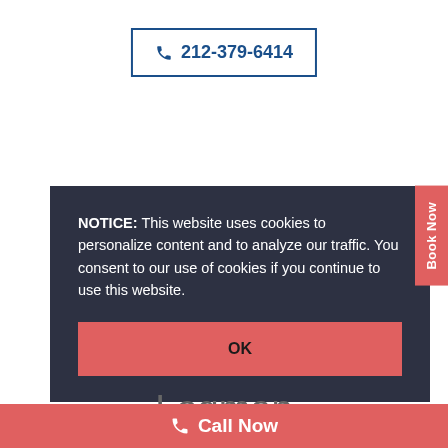212-379-6414
NOTICE: This website uses cookies to personalize content and to analyze our traffic. You consent to our use of cookies if you continue to use this website.
OK
Book Now
Logman
Call Now